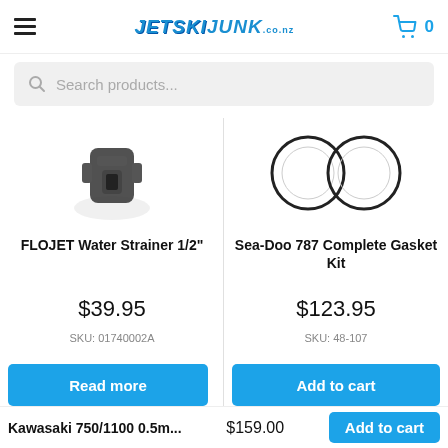JETSKI JUNK .co.nz — Cart: 0
Search products...
[Figure (photo): Product image of FLOJET Water Strainer 1/2" - partial black strainer component visible]
FLOJET Water Strainer 1/2"
$39.95
SKU: 01740002A
[Figure (photo): Product image of Sea-Doo 787 Complete Gasket Kit - two circular rubber o-rings/gaskets]
Sea-Doo 787 Complete Gasket Kit
$123.95
SKU: 48-107
Read more
Add to cart
Kawasaki 750/1100 0.5m... $159.00 Add to cart